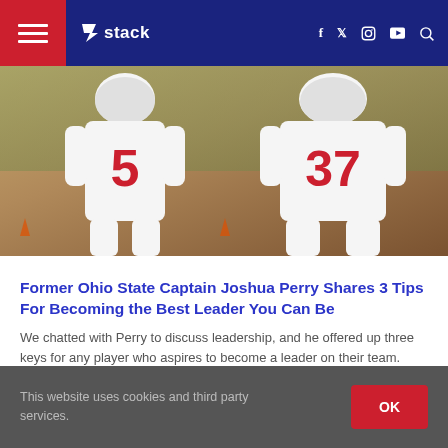stack — navigation bar with hamburger menu, logo, social icons (Facebook, Twitter, Instagram, YouTube), search
[Figure (photo): Two Ohio State football players in white uniforms with red numbers 5 and 37, Big Ten logo on helmets, running on field]
Former Ohio State Captain Joshua Perry Shares 3 Tips For Becoming the Best Leader You Can Be
We chatted with Perry to discuss leadership, and he offered up three keys for any player who aspires to become a leader on their team.
2021-10-07 | Football, Leadership, Path To The Pros, Sports News
Read More ›
This website uses cookies and third party services.